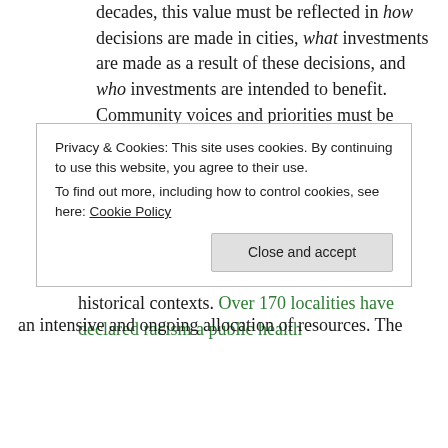decades, this value must be reflected in how decisions are made in cities, what investments are made as a result of these decisions, and who investments are intended to benefit. Community voices and priorities must be paramount, and communities must be engaged consistently and authentically.
2. Recognize and rectify historic injustices. Cities must recognize and explicitly name the structural drivers of inequity that impact their residents and make decisions within these historical contexts. Over 170 localities have declared racism a public health [emergency, requiring an intensive and ongoing allocation of resources. The
Privacy & Cookies: This site uses cookies. By continuing to use this website, you agree to their use.
To find out more, including how to control cookies, see here: Cookie Policy
an intensive and ongoing allocation of resources. The